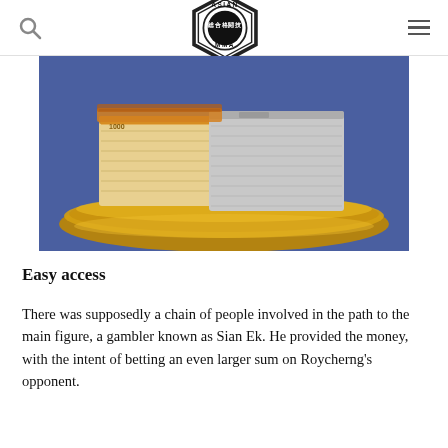Asian MMA logo with search and menu icons
[Figure (photo): Stacks of banknotes on a golden decorative tray against a blue background]
Easy access
There was supposedly a chain of people involved in the path to the main figure, a gambler known as Sian Ek. He provided the money, with the intent of betting an even larger sum on Roycherng's opponent.